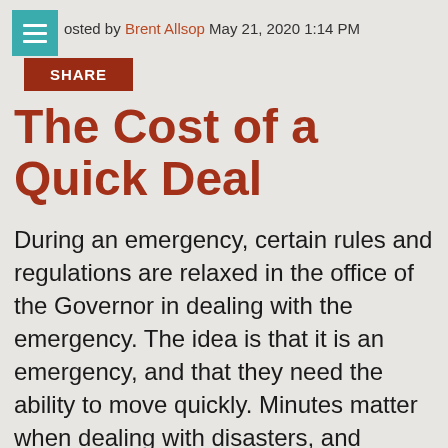Posted by Brent Allsop May 21, 2020 1:14 PM
The Cost of a Quick Deal
During an emergency, certain rules and regulations are relaxed in the office of the Governor in dealing with the emergency. The idea is that it is an emergency, and that they need the ability to move quickly. Minutes matter when dealing with disasters, and Covid-19 is a disaster. However, there is a difference between moving